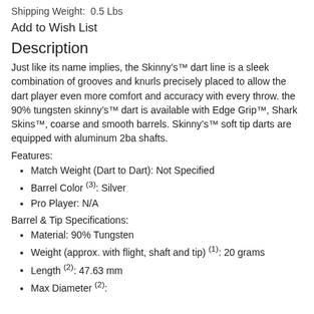Shipping Weight:  0.5 Lbs
Add to Wish List
Description
Just like its name implies, the Skinny’s™ dart line is a sleek combination of grooves and knurls precisely placed to allow the dart player even more comfort and accuracy with every throw. the 90% tungsten skinny’s™ dart is available with Edge Grip™, Shark Skins™, coarse and smooth barrels. Skinny’s™ soft tip darts are equipped with aluminum 2ba shafts.
Features:
Match Weight (Dart to Dart): Not Specified
Barrel Color (3): Silver
Pro Player: N/A
Barrel & Tip Specifications:
Material: 90% Tungsten
Weight (approx. with flight, shaft and tip) (1): 20 grams
Length (2): 47.63 mm
Max Diameter (2): ...